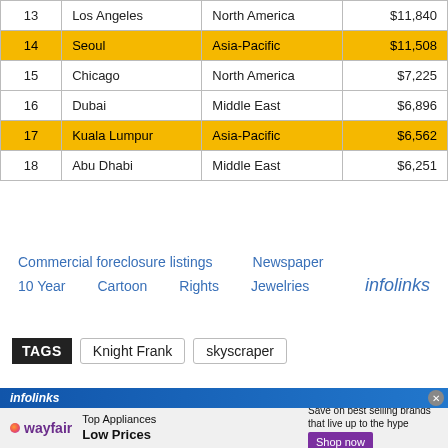| # | City | Region | Value |
| --- | --- | --- | --- |
| 13 | Los Angeles | North America | $11,840 |
| 14 | Seoul | Asia-Pacific | $11,508 |
| 15 | Chicago | North America | $7,225 |
| 16 | Dubai | Middle East | $6,896 |
| 17 | Kuala Lumpur | Asia-Pacific | $6,562 |
| 18 | Abu Dhabi | Middle East | $6,251 |
Commercial foreclosure listings   Newspaper   10 Year   Cartoon   Rights   Jewelries   infolinks
TAGS   Knight Frank   skyscraper